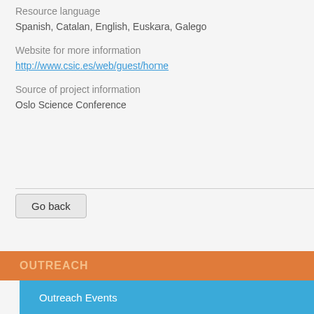Resource language
Spanish, Catalan, English, Euskara, Galego
Website for more information
http://www.csic.es/web/guest/home
Source of project information
Oslo Science Conference
Go back
OUTREACH
Outreach Events